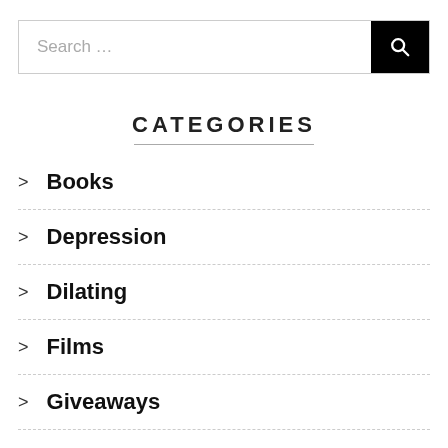[Figure (screenshot): Search input field with placeholder 'Search ...' and a black search button with magnifying glass icon]
CATEGORIES
Books
Depression
Dilating
Films
Giveaways